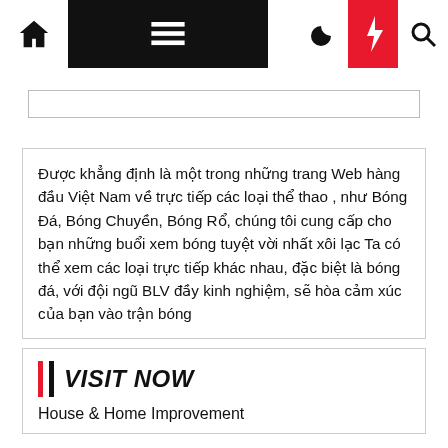Navigation bar with home icon, hamburger menu, moon icon, lightning icon (red), search icon
[Figure (screenshot): Search input bar, empty]
Được khẳng định là một trong những trang Web hàng đầu Việt Nam về trực tiếp các loại thể thao , như Bóng Đá, Bóng Chuyền, Bóng Rổ, chúng tôi cung cấp cho bạn những buổi xem bóng tuyệt vời nhất xôi lạc Ta có thể xem các loại trực tiếp khác nhau, đặc biệt là bóng đá, với đội ngũ BLV đầy kinh nghiệm, sẽ hòa cảm xúc của bạn vào trận bóng
| VISIT NOW
House & Home Improvement